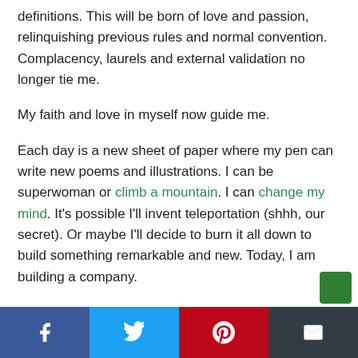definitions. This will be born of love and passion, relinquishing previous rules and normal convention. Complacency, laurels and external validation no longer tie me.
My faith and love in myself now guide me.
Each day is a new sheet of paper where my pen can write new poems and illustrations. I can be superwoman or climb a mountain. I can change my mind. It's possible I'll invent teleportation (shhh, our secret). Or maybe I'll decide to burn it all down to build something remarkable and new. Today, I am building a company.
Share buttons: Facebook, Twitter, Pinterest, Email